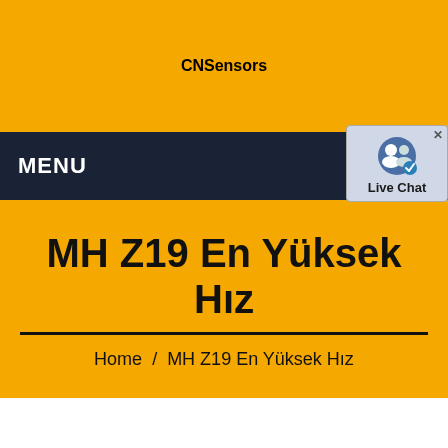CNSensors
[Figure (screenshot): Live Chat widget popup with person icon and blue/gray background]
MENU
MH Z19 En Yüksek Hız
Home / MH Z19 En Yüksek Hız
Get a Quote  WhatsApp  Chat Now